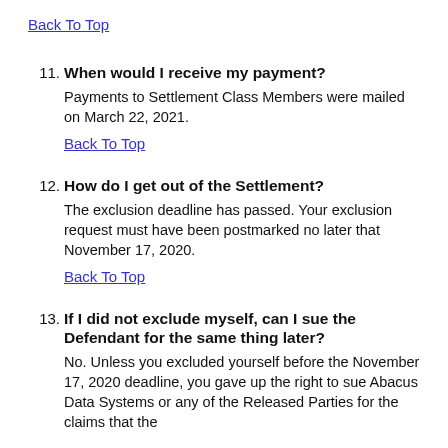Back To Top
11. When would I receive my payment?
Payments to Settlement Class Members were mailed on March 22, 2021.
Back To Top
12. How do I get out of the Settlement?
The exclusion deadline has passed. Your exclusion request must have been postmarked no later that November 17, 2020.
Back To Top
13. If I did not exclude myself, can I sue the Defendant for the same thing later?
No. Unless you excluded yourself before the November 17, 2020 deadline, you gave up the right to sue Abacus Data Systems or any of the Released Parties for the claims that the Settlement resolves. You would be precluded